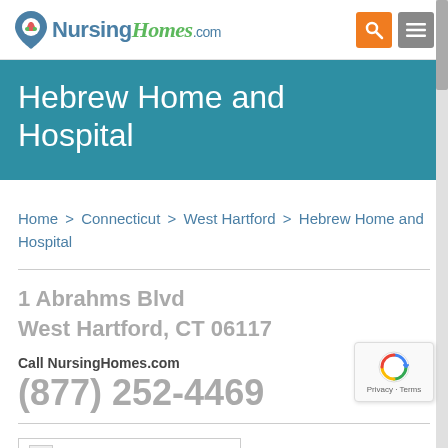NursingHomes.com
Hebrew Home and Hospital
Home > Connecticut > West Hartford > Hebrew Home and Hospital
1 Abrahms Blvd
West Hartford, CT 06117
Call NursingHomes.com
(877) 252-4469
[Figure (photo): Hebrew Home and Hospital facility image thumbnail]